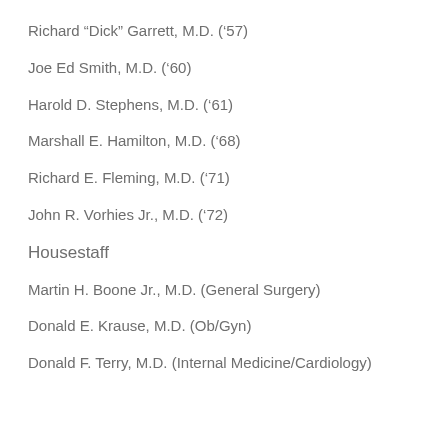Richard “Dick” Garrett, M.D. (’57)
Joe Ed Smith, M.D. (’60)
Harold D. Stephens, M.D. (’61)
Marshall E. Hamilton, M.D. (’68)
Richard E. Fleming, M.D. (’71)
John R. Vorhies Jr., M.D. (’72)
Housestaff
Martin H. Boone Jr., M.D. (General Surgery)
Donald E. Krause, M.D. (Ob/Gyn)
Donald F. Terry, M.D. (Internal Medicine/Cardiology)